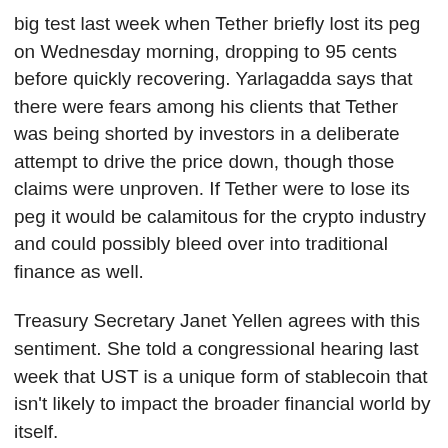big test last week when Tether briefly lost its peg on Wednesday morning, dropping to 95 cents before quickly recovering. Yarlagadda says that there were fears among his clients that Tether was being shorted by investors in a deliberate attempt to drive the price down, though those claims were unproven. If Tether were to lose its peg it would be calamitous for the crypto industry and could possibly bleed over into traditional finance as well.
Treasury Secretary Janet Yellen agrees with this sentiment. She told a congressional hearing last week that UST is a unique form of stablecoin that isn't likely to impact the broader financial world by itself.
It would be nice if this saga served as a cautionary tale of excess and led to more responsible forms of innovation in the